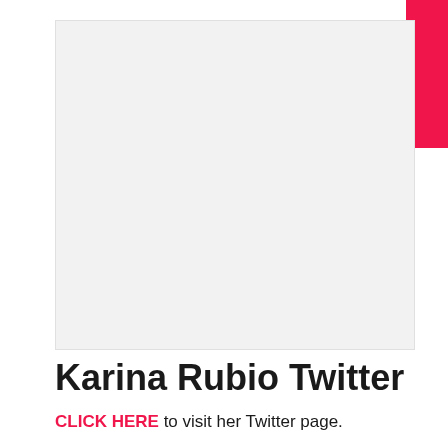[Figure (photo): Large light gray placeholder image area representing a photo or image block]
Karina Rubio Twitter
CLICK HERE to visit her Twitter page.